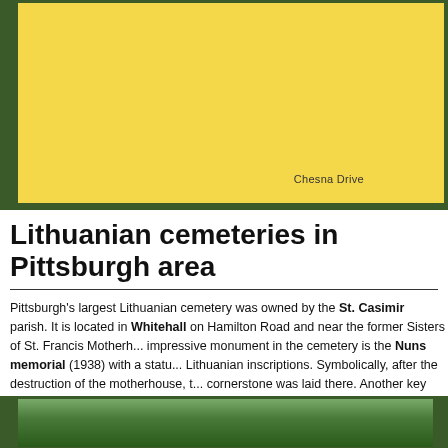[Figure (map): Yellow map area with label 'Chesna Drive' near the bottom right of the map panel]
Chesna Drive
Lithuanian cemeteries in Pittsburgh area
Pittsburgh's largest Lithuanian cemetery was owned by the St. Casimir parish. It is located in Whitehall on Hamilton Road and near the former Sisters of St. Francis Motherhouse. The most impressive monument in the cemetery is the Nuns memorial (1938) with a statue and Lithuanian inscriptions. Symbolically, after the destruction of the motherhouse, the new cornerstone was laid there. Another key monument is a belfry of Our Lady of P... entrance, where all the Pittsburgh Lithuanians who fought for the USA during W... of them, and those are just members of St. Casimir parish). The Lithuanian inscr... „Let the echo of this bell lead the soul to eternal life".
[Figure (photo): Bottom strip showing a photo of trees and outdoor cemetery scene]